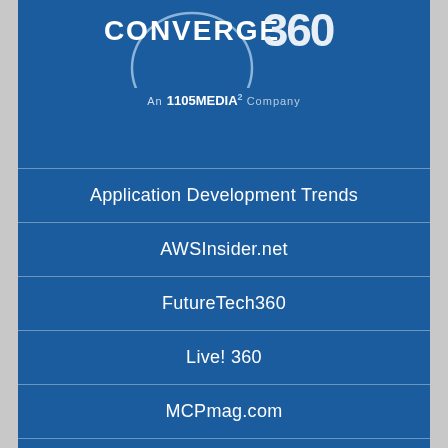[Figure (logo): Converge 360 logo with circular arc graphic and 'CONVERGE 360' text]
An 1105 MEDIA² Company
Application Development Trends
AWSInsider.net
FutureTech360
Live! 360
MCPmag.com
MedCloudInsider